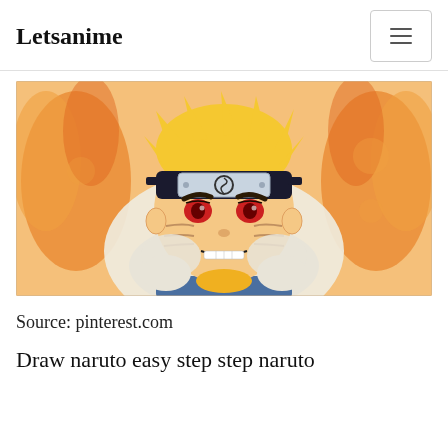Letsanime
[Figure (illustration): Colored illustration of Naruto Uzumaki anime character with orange flames in background, headband with spiral symbol, red eyes, whisker marks on cheeks, white scarf, angry expression]
Source: pinterest.com
Draw naruto easy step step naruto